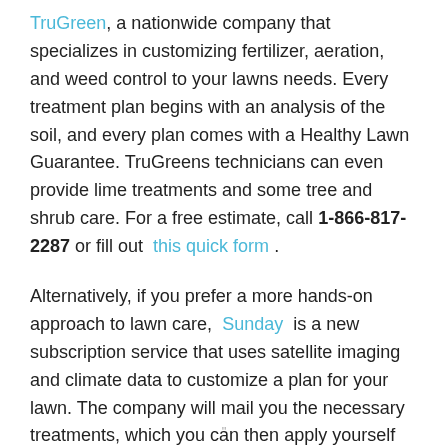TruGreen, a nationwide company that specializes in customizing fertilizer, aeration, and weed control to your lawns needs. Every treatment plan begins with an analysis of the soil, and every plan comes with a Healthy Lawn Guarantee. TruGreens technicians can even provide lime treatments and some tree and shrub care. For a free estimate, call 1-866-817-2287 or fill out this quick form.
Alternatively, if you prefer a more hands-on approach to lawn care, Sunday is a new subscription service that uses satellite imaging and climate data to customize a plan for your lawn. The company will mail you the necessary treatments, which you can then apply yourself with equipment no more specialized than a garden hose. You can save some money by doing the work yourself but also